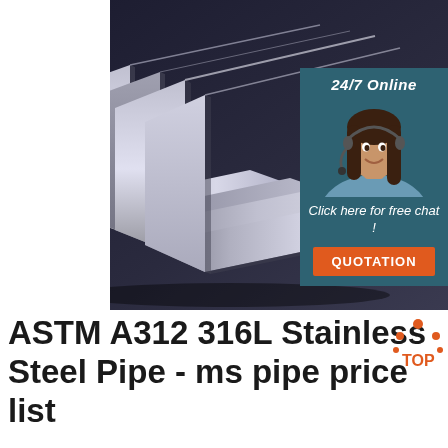[Figure (photo): Stainless steel L-shaped angle bars stacked on dark background, with a customer service overlay badge on the right showing '24/7 Online', a woman with headset, 'Click here for free chat!' text, and an orange QUOTATION button.]
ASTM A312 316L Stainless Steel Pipe - ms pipe price list